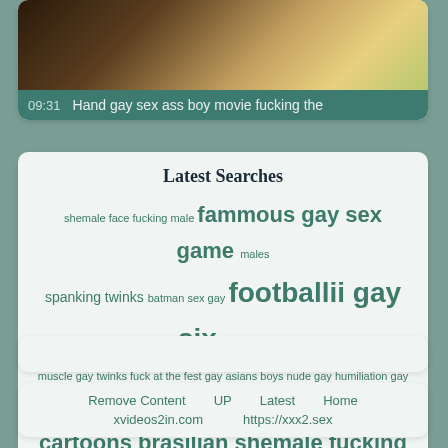[Figure (screenshot): Video thumbnail showing partial indoor scene with a person and yellow furniture]
09:31  Hand gay sex ass boy movie fucking the
Latest Searches
shemale face fucking male fammous gay sex game males spanking twinks batman sex gay footballii gay six tan twink muscle gay twinks fuck at the fest gay asians boys nude gay humiliation gay asian buns gay boy on boy massive gay dick comics dp gay sex cartoons brasilian shemale fucking girls brazzers shemale ravaged
Remove Content  UP  Latest  Home  xvideos2in.com  https://xxx2.sex